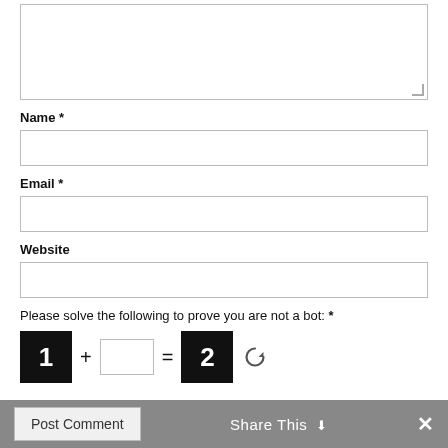[Figure (screenshot): A web comment form showing a textarea (partially visible at top), Name field with asterisk, Email field with asterisk, Website field, a CAPTCHA math puzzle (1 + [input] = 2) with a refresh icon, and a Post Comment button. A grey bottom bar shows Share This with chevron and an X close button.]